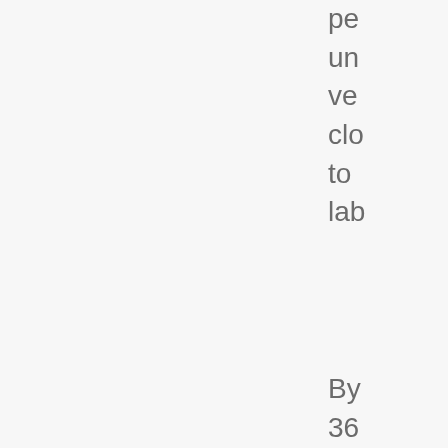pe un ve clo to lab
By 36 we or so the ba lun are mo mo an ge